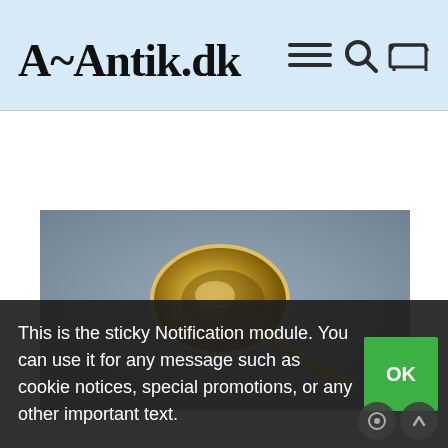A~Antik.dk
[Figure (photo): A golden/silver antique spoon photographed from above on a gray-blue background]
This is the sticky Notification module. You can use it for any message such as cookie notices, special promotions, or any other important text.